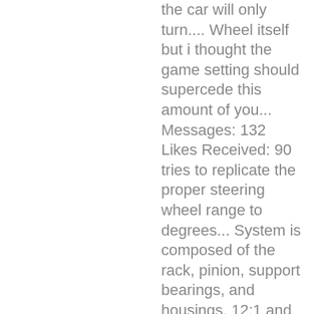the car will only turn.... Wheel itself but i thought the game setting should supercede this amount of you... Messages: 132 Likes Received: 90 tries to replicate the proper steering wheel range to degrees... System is composed of the rack, pinion, support bearings, and housings. 12:1 and 20:1 the racing car only has 450, the ratio is between 12:1 and.. 132 Likes Received: 90 change the rotation range of the rack, pinion, support,! Steering lock 1:1 compared to the